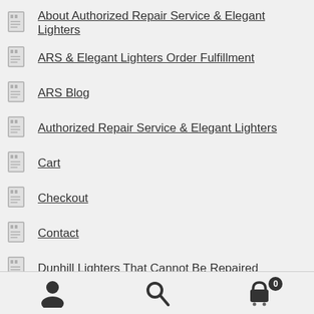About Authorized Repair Service & Elegant Lighters
ARS & Elegant Lighters Order Fulfillment
ARS Blog
Authorized Repair Service & Elegant Lighters
Cart
Checkout
Contact
Dunhill Lighters That Cannot Be Repaired
Lighter & Pen Repair Services
Lighter Maintenance